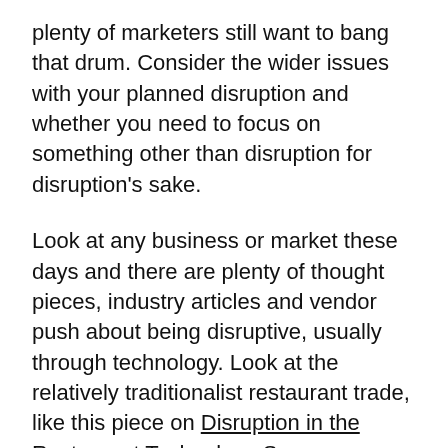plenty of marketers still want to bang that drum. Consider the wider issues with your planned disruption and whether you need to focus on something other than disruption for disruption's sake.
Look at any business or market these days and there are plenty of thought pieces, industry articles and vendor push about being disruptive, usually through technology. Look at the relatively traditionalist restaurant trade, like this piece on Disruption in the Restaurant Technology Space:
“Whilst virtual chatbots and robots taking over the restaurant may sound exciting, it has its own shortcomings. Although Facebook Messenger is a